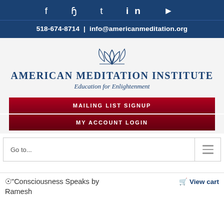Social icons: f, pinterest, twitter, linkedin, youtube
518-674-8714 | info@americanmeditation.org
[Figure (logo): American Meditation Institute lotus flower logo with text 'AMERICAN MEDITATION INSTITUTE' and tagline 'Education for Enlightenment']
MAILING LIST SIGNUP
MY ACCOUNT LOGIN
Go to...
"Consciousness Speaks by Ramesh Balsekar" has been added to your cart.
View cart